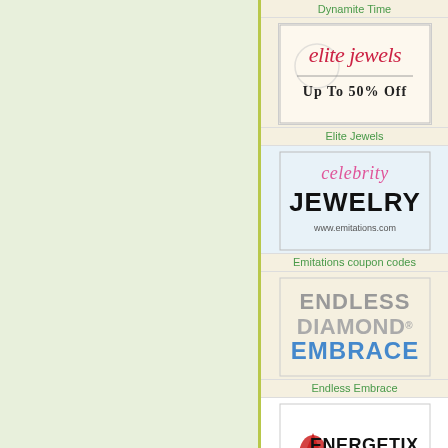[Figure (logo): Left panel: light green background, empty content area]
Dynamite Time
[Figure (logo): Elite Jewels logo: cursive red 'elite jewels' text with decorative e, 'Up To 50% Off' below in bold serif font, beige background with border]
Elite Jewels
[Figure (logo): Celebrity Jewelry logo: pink cursive 'celebrity' over bold black 'JEWELRY', www.emitations.com below, light blue background]
Emitations coupon codes
[Figure (logo): Endless Diamond Embrace logo: gray 'ENDLESS DIAMOND' with blue 'EMBRACE' text, beige background]
Endless Embrace
[Figure (logo): Energetix logo: red figure/mascot with 'ENERGETIX.' in large text and 'jewelry that makes a difference' below, white background]
Energetix Jewelry
[Figure (logo): Energy Muse Jewelry logo: teal yin-yang style circle with 'energy muse jewelry' text and necklace photo, beige background]
Energy Muse